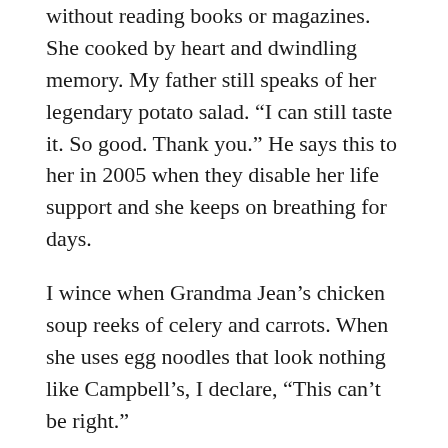without reading books or magazines. She cooked by heart and dwindling memory. My father still speaks of her legendary potato salad. “I can still taste it. So good. Thank you.” He says this to her in 2005 when they disable her life support and she keeps on breathing for days.
I wince when Grandma Jean’s chicken soup reeks of celery and carrots. When she uses egg noodles that look nothing like Campbell’s, I declare, “This can’t be right.”
Inevitably, the tea kettle emits bubbles, and spoons spark in the microwave then disappear en masse. Even the small one engraved “USN” vanishes. I imagine my grandfather stealing it from a boat he worked on during World War II. My mom and her siblings were so proud of that spoon.